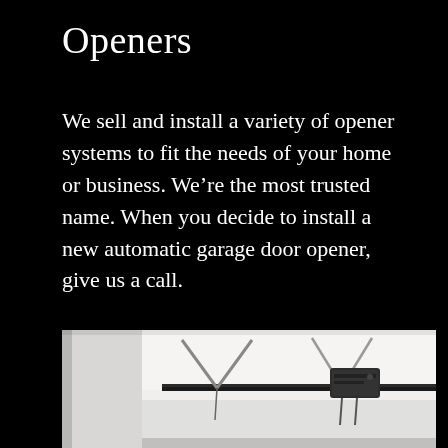Openers
We sell and install a variety of opener systems to fit the needs of your home or business. We’re the most trusted name. When you decide to install a new automatic garage door opener, give us a call.
[Figure (photo): Interior photo of a garage ceiling showing a garage door opener unit mounted on the ceiling rail, with white panels and cables visible.]